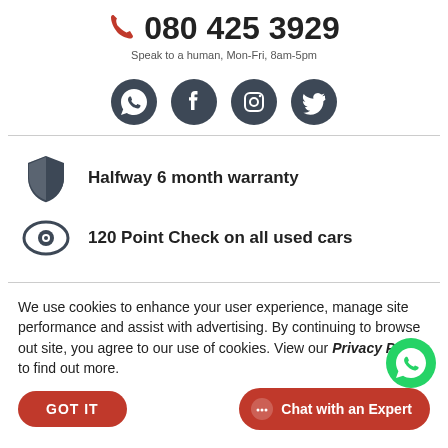080 425 3929
Speak to a human, Mon-Fri, 8am-5pm
[Figure (illustration): Social media icons: WhatsApp, Facebook, Instagram, Twitter]
Halfway 6 month warranty
120 Point Check on all used cars
We use cookies to enhance your user experience, manage site performance and assist with advertising. By continuing to browse out site, you agree to our use of cookies. View our Privacy Policy to find out more.
GOT IT
Chat with an Expert